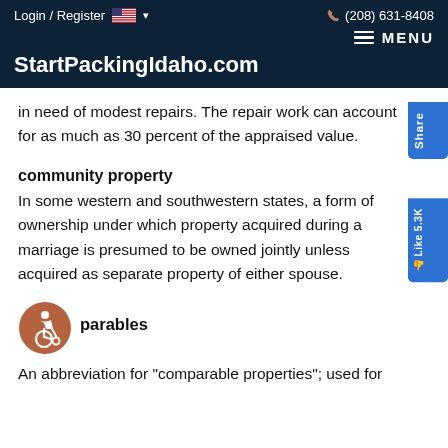Login / Register  🇺🇸 ▾      (208) 631-8408
StartPackingIdaho.com
in need of modest repairs. The repair work can account for as much as 30 percent of the appraised value.
community property
In some western and southwestern states, a form of ownership under which property acquired during a marriage is presumed to be owned jointly unless acquired as separate property of either spouse.
[Figure (illustration): Accessibility icon — a person in a wheelchair symbol inside a brown circle]
comparables
An abbreviation for "comparable properties"; used for